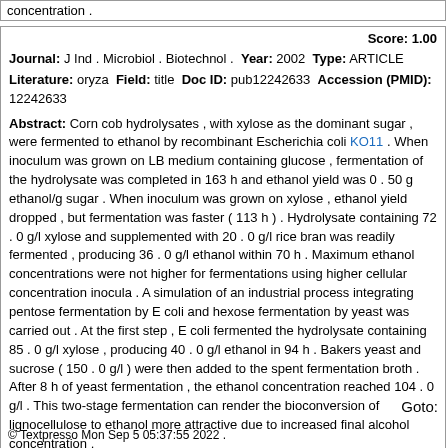concentration .
Score: 1.00
Journal: J Ind . Microbiol . Biotechnol . Year: 2002 Type: ARTICLE
Literature: oryza Field: title Doc ID: pub12242633 Accession (PMID): 12242633
Abstract: Corn cob hydrolysates , with xylose as the dominant sugar , were fermented to ethanol by recombinant Escherichia coli KO11 . When inoculum was grown on LB medium containing glucose , fermentation of the hydrolysate was completed in 163 h and ethanol yield was 0 . 50 g ethanol/g sugar . When inoculum was grown on xylose , ethanol yield dropped , but fermentation was faster ( 113 h ) . Hydrolysate containing 72 . 0 g/l xylose and supplemented with 20 . 0 g/l rice bran was readily fermented , producing 36 . 0 g/l ethanol within 70 h . Maximum ethanol concentrations were not higher for fermentations using higher cellular concentration inocula . A simulation of an industrial process integrating pentose fermentation by E coli and hexose fermentation by yeast was carried out . At the first step , E coli fermented the hydrolysate containing 85 . 0 g/l xylose , producing 40 . 0 g/l ethanol in 94 h . Bakers yeast and sucrose ( 150 . 0 g/l ) were then added to the spent fermentation broth . After 8 h of yeast fermentation , the ethanol concentration reached 104 . 0 g/l . This two-stage fermentation can render the bioconversion of lignocellulose to ethanol more attractive due to increased final alcohol concentration .
Goto:
© Textpresso Mon Sep 5 05:37:55 2022 .